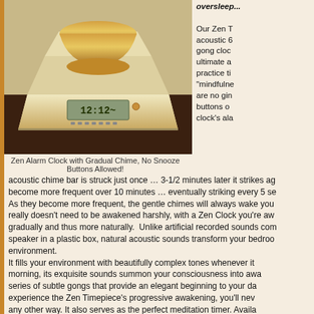[Figure (photo): Zen Alarm Clock with a brass singing bowl on top of a wooden base with a digital clock display showing 12:12, sitting on a dark wood surface]
Zen Alarm Clock with Gradual Chime, No Snooze Buttons Allowed!
oversleep... Our Zen Timepiece is an acoustic 6" solid brass, hand-hammered gong clock that we believe is the ultimate alarm clock for those who practice the now-emerging concept of "mindfulness". This means there are no gimmicks, no snooze buttons on this clock. When this clock's alarm goes off, the acoustic chime bar is struck just once … 3-1/2 minutes later it strikes again … the strikes become more frequent over 10 minutes … eventually striking every 5 seconds. As they become more frequent, the gentle chimes will always wake you up. Your body really doesn't need to be awakened harshly, with a Zen Clock you're awakened gradually and thus more naturally. Unlike artificial recorded sounds coming from a speaker in a plastic box, natural acoustic sounds transform your bedroom environment.
It fills your environment with beautifully complex tones whenever it rings. In the morning, its exquisite sounds summon your consciousness into awareness through a series of subtle gongs that provide an elegant beginning to your day. Once you experience the Zen Timepiece's progressive awakening, you'll never want to wake any other way. It also serves as the perfect meditation timer. Available in many styles, including bamboo (not shown).
Now & Zen – The Zen Alarm Clock Store
1638 Pearl Street
[Figure (photo): Partial view of a Zen clock in a wooden frame with greenery visible in background]